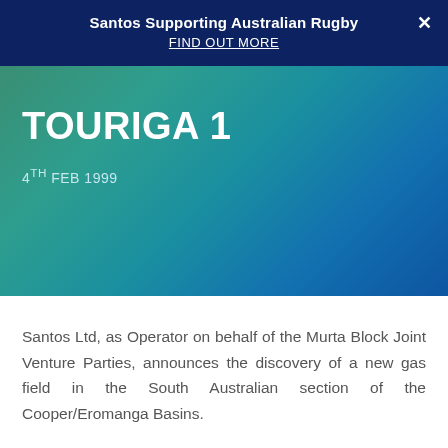Santos Supporting Australian Rugby
FIND OUT MORE
TOURIGA 1
4TH FEB 1999
Santos Ltd, as Operator on behalf of the Murta Block Joint Venture Parties, announces the discovery of a new gas field in the South Australian section of the Cooper/Eromanga Basins.